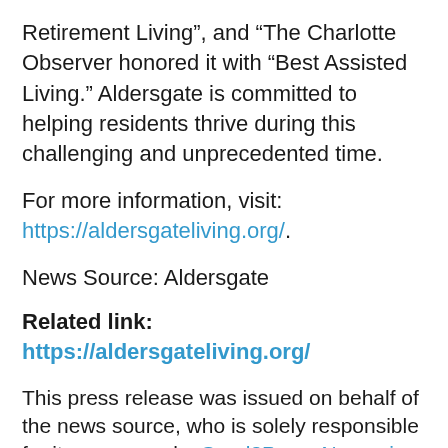Retirement Living”, and “The Charlotte Observer honored it with “Best Assisted Living.” Aldersgate is committed to helping residents thrive during this challenging and unprecedented time.
For more information, visit: https://aldersgateliving.org/.
News Source: Aldersgate
Related link: https://aldersgateliving.org/
This press release was issued on behalf of the news source, who is solely responsible for its accuracy, by Send2Press Newswire. To view the original story, visit: https://www.send2press.com/wire/aldersgate-